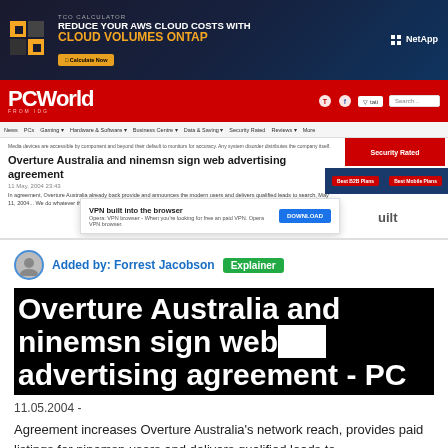[Figure (screenshot): Screenshot of PCWorld website showing a NetApp advertisement banner at top, PCWorld red header logo bar, navigation menu, and an article titled 'Overture Australia and ninemsn sign web advertising agreement' with a VPN browser popup ad.]
Added by: Forrest Jacobson  Explainer
Overture Australia and ninemsn sign web advertising agreement - PC
11.05.2004 -
Agreement increases Overture Australia's network reach, provides paid listings for ninemsn users and delivers qualified leads to